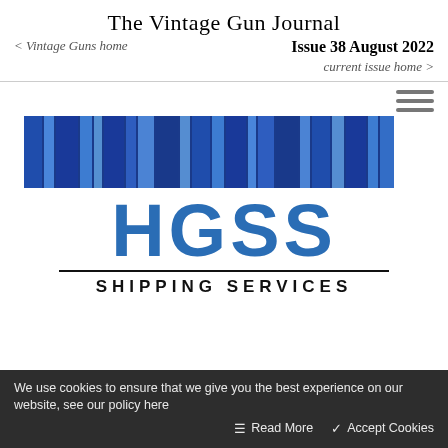The Vintage Gun Journal
< Vintage Guns home   Issue 38 August 2022   current issue home >
[Figure (photo): Blue metallic vertical stripes banner image for HGSS]
[Figure (logo): HGSS Shipping Services logo with large blue HGSS letters and black SHIPPING SERVICES text below a horizontal rule]
We use cookies to ensure that we give you the best experience on our website, see our policy here   Read More   Accept Cookies